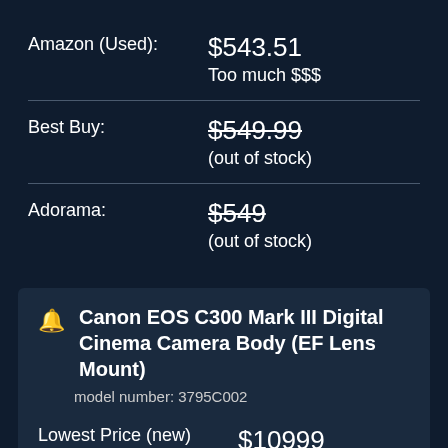Amazon (Used): $543.51
Too much $$$
Best Buy: $549.99 (out of stock)
Adorama: $549 (out of stock)
Canon EOS C300 Mark III Digital Cinema Camera Body (EF Lens Mount)
model number: 3795C002
Lowest Price (new): $10999 (1 year ago)
Adorama: $10999